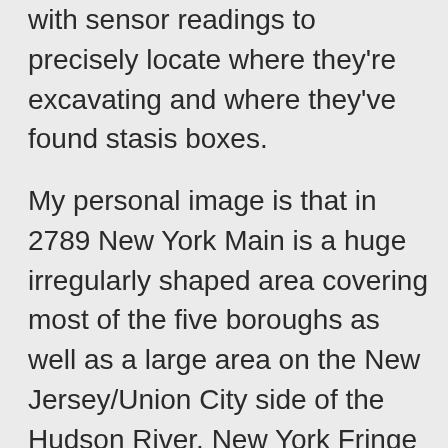with sensor readings to precisely locate where they're excavating and where they've found stasis boxes.
My personal image is that in 2789 New York Main is a huge irregularly shaped area covering most of the five boroughs as well as a large area on the New Jersey/Union City side of the Hudson River. New York Fringe is an outer large swathe. There are sizeable areas effectively missed out of both New York Fringe and New York Main, because they aren't interesting enough to be worth dealing with extensive flooding or other major hazards.